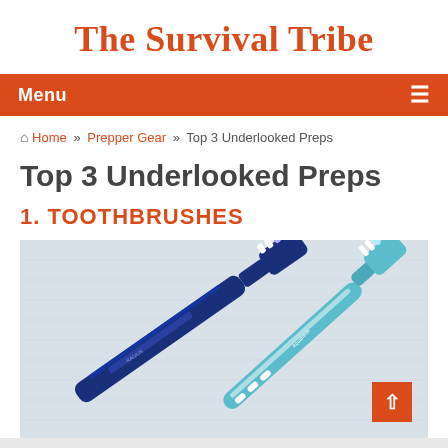The Survival Tribe
Top 3 Underlooked Preps
Home » Prepper Gear » Top 3 Underlooked Preps
1. TOOTHBRUSHES
[Figure (photo): Photo of two toothbrushes lying on a light fabric surface — a dark blue one and a teal/white curved one labeled Aquafresh]